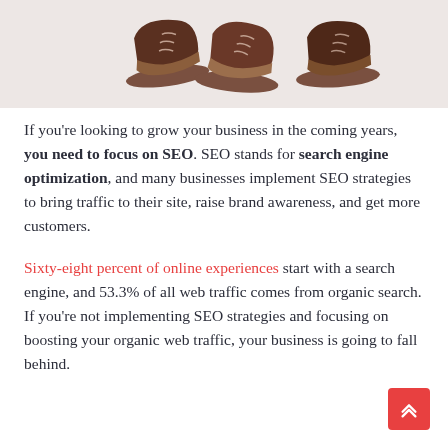[Figure (photo): Partial view of shoes on a light pinkish-gray background, showing the tops of multiple shoes near the top of the image.]
If you're looking to grow your business in the coming years, you need to focus on SEO. SEO stands for search engine optimization, and many businesses implement SEO strategies to bring traffic to their site, raise brand awareness, and get more customers.
Sixty-eight percent of online experiences start with a search engine, and 53.3% of all web traffic comes from organic search. If you're not implementing SEO strategies and focusing on boosting your organic web traffic, your business is going to fall behind.